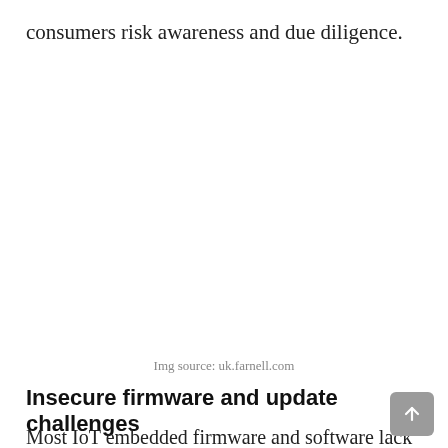consumers risk awareness and due diligence.
Img source: uk.farnell.com
Insecure firmware and update challenges
Most IoT embedded firmware and software lack